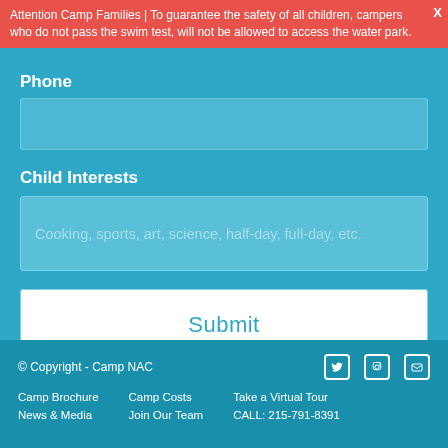Attention Camp Families | To guarantee the safety of all children, campers who do not pass the swim test, will not be allowed to access the water park.
Phone
Child Interests
Cooking, sports, art, science, half-day, full-day, etc.
Submit
© Copyright - Camp NAC
Camp Brochure   Camp Costs   Take a Virtual Tour
News & Media   Join Our Team   CALL: 215-791-8391